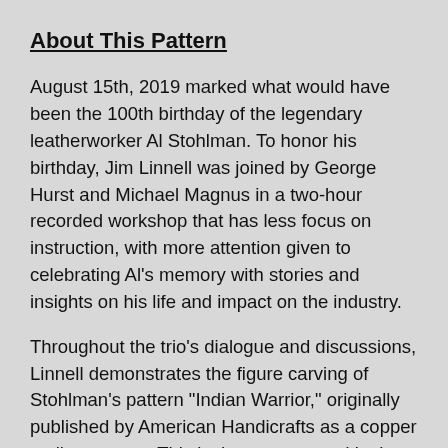About This Pattern
August 15th, 2019 marked what would have been the 100th birthday of the legendary leatherworker Al Stohlman. To honor his birthday, Jim Linnell was joined by George Hurst and Michael Magnus in a two-hour recorded workshop that has less focus on instruction, with more attention given to celebrating Al's memory with stories and insights on his life and impact on the industry.
Throughout the trio's dialogue and discussions, Linnell demonstrates the figure carving of Stohlman's pattern "Indian Warrior," originally published by American Handicrafts as a copper tooling pattern. This is the pattern used in that workshop.